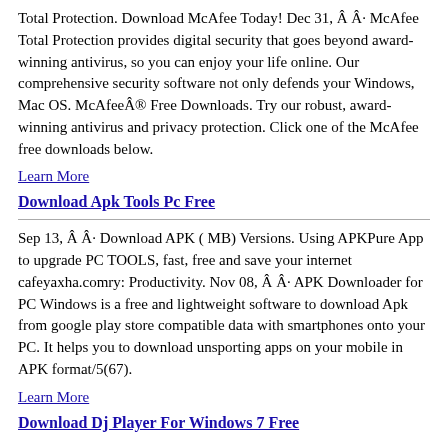Total Protection. Download McAfee Today! Dec 31, Â Â· McAfee Total Protection provides digital security that goes beyond award-winning antivirus, so you can enjoy your life online. Our comprehensive security software not only defends your Windows, Mac OS. McAfeeÂ® Free Downloads. Try our robust, award-winning antivirus and privacy protection. Click one of the McAfee free downloads below.
Learn More
Download Apk Tools Pc Free
Sep 13, Â Â· Download APK ( MB) Versions. Using APKPure App to upgrade PC TOOLS, fast, free and save your internet cafeyaxha.comry: Productivity. Nov 08, Â Â· APK Downloader for PC Windows is a free and lightweight software to download Apk from google play store compatible data with smartphones onto your PC. It helps you to download unsporting apps on your mobile in APK format/5(67).
Learn More
Download Dj Player For Windows 7 Free